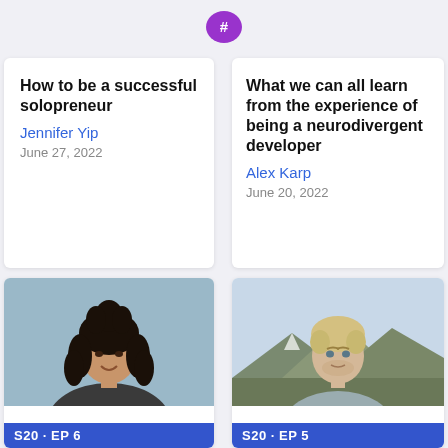[Figure (logo): Purple chat bubble logo with hashtag symbol]
How to be a successful solopreneur
Jennifer Yip
June 27, 2022
What we can all learn from the experience of being a neurodivergent developer
Alex Karp
June 20, 2022
[Figure (photo): Photo of Jennifer Yip, a woman with curly black hair styled up, wearing a dark top, smiling. Badge reads S20 · EP 6]
[Figure (photo): Photo of Alex Karp, a man with blonde/light hair, wearing a gray hoodie, outdoors with mountains in background. Badge reads S20 · EP 5]